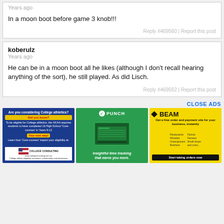Years ago
In a moon boot before game 3 knob!!!
Reply #469560 | Report this post
koberulz
Years ago
He can be in a moon boot all he likes (although I don't recall hearing anything of the sort), he still played. As did Lisch.
Reply #469562 | Report this post
CLOSE ADS
[Figure (infographic): College athletics consulting advertisement with blue background]
[Figure (infographic): PUNCH time tracking app advertisement with green background]
[Figure (infographic): BEAM payment site advertisement with yellow background]